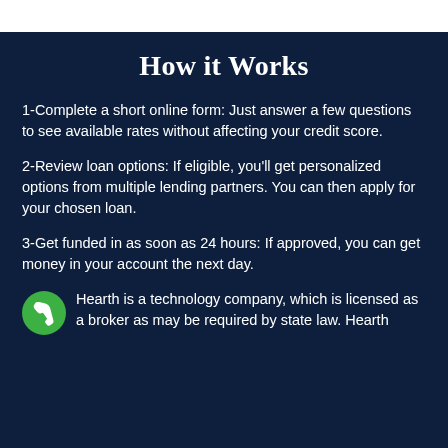How it Works
1-Complete a short online form: Just answer a few questions to see available rates without affecting your credit score.
2-Review loan options: If eligible, you’ll get personalized options from multiple lending partners. You can then apply for your chosen loan.
3-Get funded in as soon as 24 hours: If approved, you can get money in your account the next day.
Hearth is a technology company, which is licensed as a broker as may be required by state law. Hearth